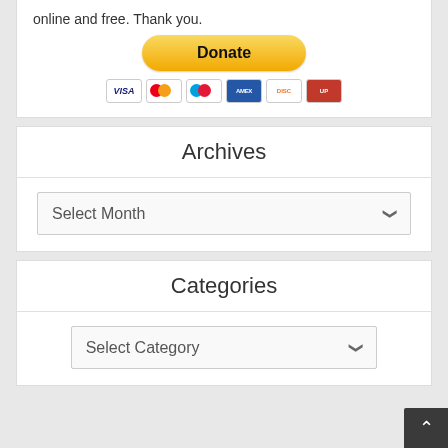online and free. Thank you.
[Figure (other): PayPal Donate button with payment card icons (Visa, Mastercard, Maestro, American Express, Discover, UnionPay)]
Archives
[Figure (other): Select Month dropdown widget]
Categories
[Figure (other): Select Category dropdown widget]